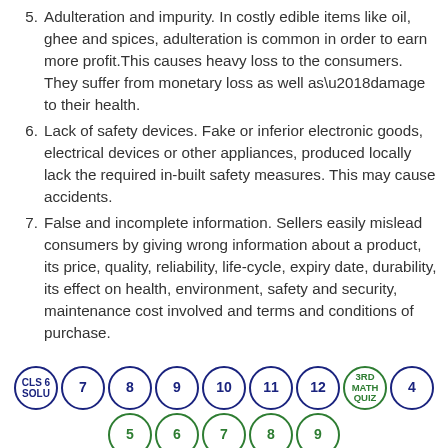5. Adulteration and impurity. In costly edible items like oil, ghee and spices, adulteration is common in order to earn more profit.This causes heavy loss to the consumers. They suffer from monetary loss as well as’damage to their health.
6. Lack of safety devices. Fake or inferior electronic goods, electrical devices or other appliances, produced locally lack the required in-built safety measures. This may cause accidents.
7. False and incomplete information. Sellers easily mislead consumers by giving wrong information about a product, its price, quality, reliability, life-cycle, expiry date, durability, its effect on health, environment, safety and security, maintenance cost involved and terms and conditions of purchase.
CLS 6 SOLU  7  8  9  10  11  12  3RD MATH QUIZ  4  |  5  6  7  8  9